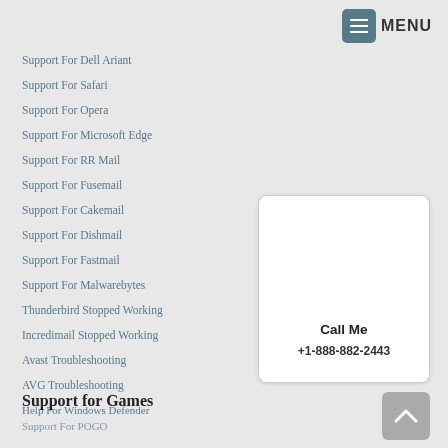MENU
Support For Google Chrome
Support For Mozilla Firefox
Support For Dell Ariant
Support For Safari
Support For Opera
Support For Microsoft Edge
Support For RR Mail
Support For Fusemail
Support For Cakemail
Support For Dishmail
Support For Fastmail
Support For Malwarebytes
Thunderbird Stopped Working
Incredimail Stopped Working
Avast Troubleshooting
AVG Troubleshooting
Help For Windows Defender
[Figure (other): Call Me card with phone number +1-888-882-2443]
Support for Games
Support For POGO